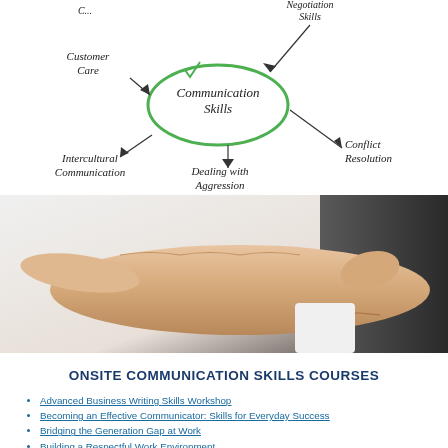[Figure (infographic): Mind map diagram showing Communication Skills at center (in green oval) with arrows pointing to/from: Customer Care, Negotiation Skills, Conflict Resolution, Dealing with Aggression, Intercultural Communication, and partially visible labels at top.]
[Figure (photo): Close-up photo of a man's open hand (palm up), wearing a white shirt and dark suit jacket, presented as if offering something.]
ONSITE COMMUNICATION SKILLS COURSES
Advanced Business Writing Skills Workshop
Becoming an Effective Communicator: Skills for Everyday Success
Bridging the Generation Gap at Work
Building a Respectful Work Environment
Business Writing That Gets Results
Communicating with Tact and Diplomacy
Conflict Management - Working Through Differences
Coping and Working with Difficult People